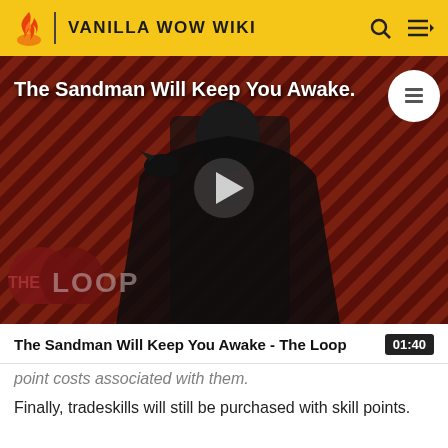VANILLA WOW WIKI
[Figure (screenshot): Video thumbnail with dark-robed figure holding a raven, diagonal striped red-brown background, play button overlay, title 'The Sandman Will Keep You Awake.' and 'THE LOOP' watermark logo]
The Sandman Will Keep You Awake - The Loop    01:40
point costs associated with them.
Finally, tradeskills will still be purchased with skill points.